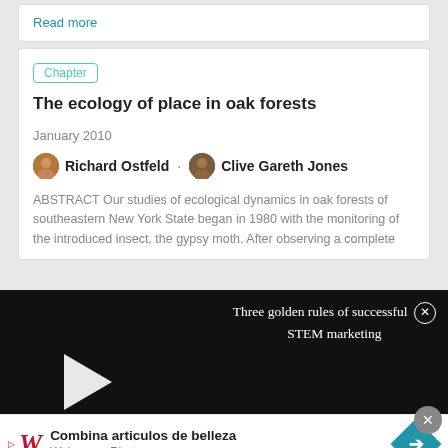Read more
Chapter
The ecology of place in oak forests
January 2010
Richard Ostfeld · Clive Gareth Jones
ABSTRACT Our studies of ecological dynamics in oak forests of southeastern New York State began in 1980 with the monitoring of the introduced insect, the gypsy moth. After observing a complete
[Figure (screenshot): Video overlay on black background with play button and title 'Three golden rules of successful STEM marketing' with close (X) button]
Article
Advertisement
[Figure (screenshot): Walgreens Photo advertisement banner: 'Combina articulos de belleza' with Walgreens logo and blue diamond arrow icon]